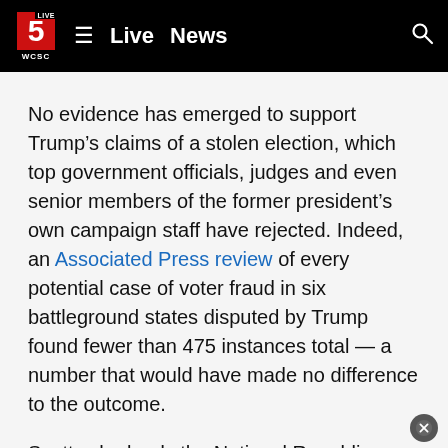Live 5 WCSC — Live | News
No evidence has emerged to support Trump’s claims of a stolen election, which top government officials, judges and even senior members of the former president’s own campaign staff have rejected. Indeed, an Associated Press review of every potential case of voter fraud in six battleground states disputed by Trump found fewer than 475 instances total — a number that would have made no difference to the outcome.
Scott, who leads the National Republican Senatorial Committee, has been reluctant to criticize fellow Republicans as he works to flip the Senate this November. Scott said be believes the party can win 54 seats and retake control of the chamber amid soaring inflation and